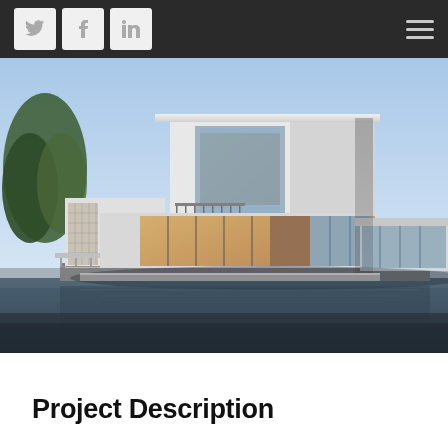[Figure (screenshot): Dark navigation bar with social media icons (Twitter, Facebook, LinkedIn) on the left and a hamburger menu icon on the right]
[Figure (photo): Architectural rendering of a modern two-story white residential building with large glass windows, wood accents, flat roofline with cantilever, and a reflective pool or water feature in the foreground. Trees visible on the left, blue sky in background.]
Project Description